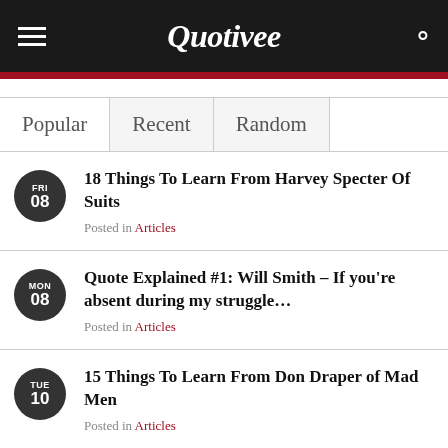Quotivee
Popular | Recent | Random
18 Things To Learn From Harvey Specter Of Suits
Posted in Articles
FRI 08
Quote Explained #1: Will Smith – If you're absent during my struggle...
Posted in Articles
MON 08
15 Things To Learn From Don Draper of Mad Men
Posted in Articles
TUE 10